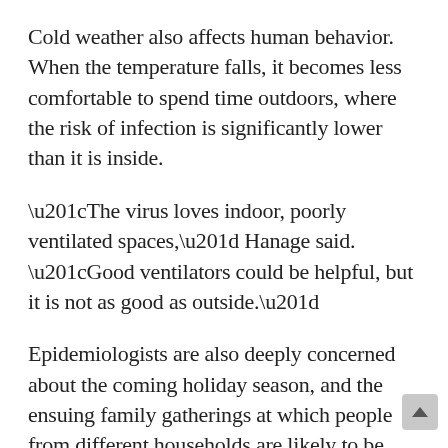Cold weather also affects human behavior. When the temperature falls, it becomes less comfortable to spend time outdoors, where the risk of infection is significantly lower than it is inside.
“The virus loves indoor, poorly ventilated spaces,” Hanage said. “Good ventilators could be helpful, but it is not as good as outside.”
Epidemiologists are also deeply concerned about the coming holiday season, and the ensuing family gatherings at which people from different households are likely to be indoors and unmasked for hours at a time. They fear these celebrations could kick outbreaks into higher gear, and that would be particularly dangerous for older family members who face a heightened risk of developing a severe